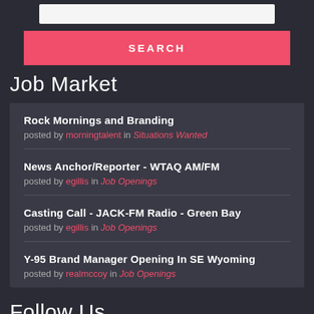[Figure (other): Search input bar (white/light background)]
[Figure (other): Pink/red Search button with text SEARCH]
Job Market
Rock Mornings and Branding
posted by morningtalent in Situations Wanted
News Anchor/Reporter - WTAQ AM/FM
posted by egillis in Job Openings
Casting Call - JACK-FM Radio - Green Bay
posted by egillis in Job Openings
Y-95 Brand Manager Opening In SE Wyoming
posted by realmccoy in Job Openings
Follow Us